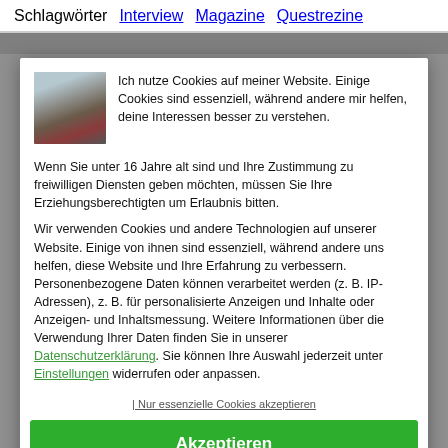Schlagwörter  Interview  Magazine  Questrezine
Ich nutze Cookies auf meiner Website. Einige Cookies sind essenziell, während andere mir helfen, deine Interessen besser zu verstehen.
Wenn Sie unter 16 Jahre alt sind und Ihre Zustimmung zu freiwilligen Diensten geben möchten, müssen Sie Ihre Erziehungsberechtigten um Erlaubnis bitten.
Wir verwenden Cookies und andere Technologien auf unserer Website. Einige von ihnen sind essenziell, während andere uns helfen, diese Website und Ihre Erfahrung zu verbessern. Personenbezogene Daten können verarbeitet werden (z. B. IP-Adressen), z. B. für personalisierte Anzeigen und Inhalte oder Anzeigen- und Inhaltsmessung. Weitere Informationen über die Verwendung Ihrer Daten finden Sie in unserer Datenschutzerklärung. Sie können Ihre Auswahl jederzeit unter Einstellungen widerrufen oder anpassen.
| Nur essenzielle Cookies akzeptieren
Akzeptieren
Individuelle Datenschutzeinstellungen